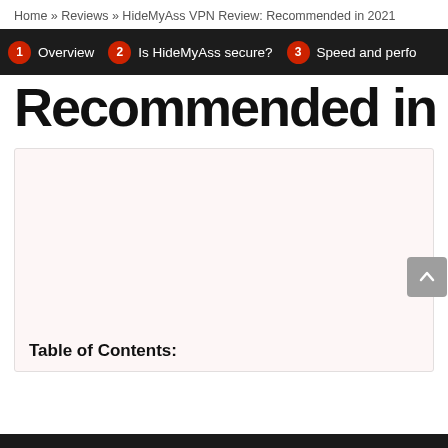Home » Reviews » HideMyAss VPN Review: Recommended in 2021
[Figure (screenshot): Navigation bar with dark background showing numbered red circle badges: 1 Overview, 2 Is HideMyAss secure?, 3 Speed and perfo]
Recommended in 2021
[Figure (other): White card area with light pink tint background, containing Table of Contents section header at bottom left, and a scroll-to-top button on right side]
Table of Contents: